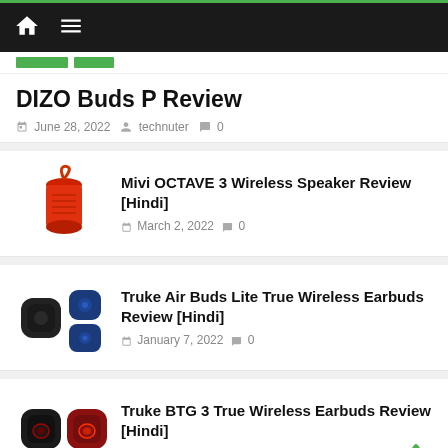Navigation bar with home and menu icons
DIZO Buds P Review
June 28, 2022  technuter  0
[Figure (photo): Red cylindrical Mivi OCTAVE 3 wireless speaker with red strap]
Mivi OCTAVE 3 Wireless Speaker Review [Hindi]
March 2, 2022  0
[Figure (photo): Truke Air Buds Lite - black charging case and dark blue earbuds]
Truke Air Buds Lite True Wireless Earbuds Review [Hindi]
January 7, 2022  0
[Figure (photo): Truke BTG 3 True Wireless Earbuds - black and red variants]
Truke BTG 3 True Wireless Earbuds Review [Hindi]
January 7, 2022  0